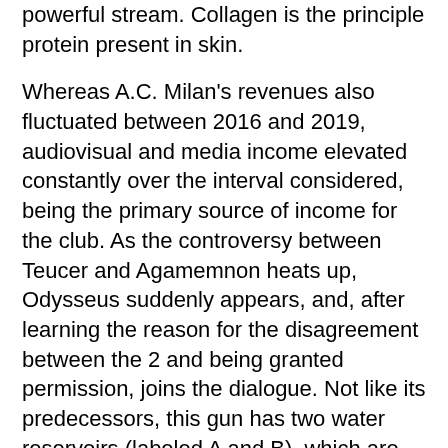powerful stream. Collagen is the principle protein present in skin.
Whereas A.C. Milan's revenues also fluctuated between 2016 and 2019, audiovisual and media income elevated constantly over the interval considered, being the primary source of income for the club. As the controversy between Teucer and Agamemnon heats up, Odysseus suddenly appears, and, after learning the reason for the disagreement between the 2 and being granted permission, joins the dialogue. Not like its predecessors, this gun has two water reservoirs (labeled A and B), which are connected collectively by way of a network of tubes.
Ship two separate streams of information to Earth. If you do so, first place doughnut-shaped padding around the corn to guard the encompassing skin. Sky caused the identical clamor, orders pouring in before the first one left the Wilmington, Del., plant that had been refurbished after finishing with the L-